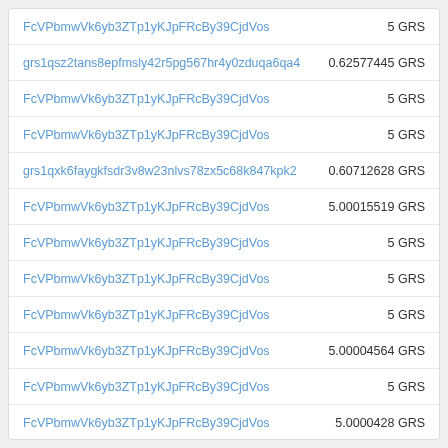| Address | Amount |
| --- | --- |
| FcVPbmwVk6yb3ZTp1yKJpFRcBy39CjdVos | 5 GRS |
| grs1qsz2tans8epfmsly42r5pg567hr4y0zduqa6qa4 | 0.62577445 GRS |
| FcVPbmwVk6yb3ZTp1yKJpFRcBy39CjdVos | 5 GRS |
| FcVPbmwVk6yb3ZTp1yKJpFRcBy39CjdVos | 5 GRS |
| grs1qxk6faygkfsdr3v8w23nlvs78zx5c68k847kpk2 | 0.60712628 GRS |
| FcVPbmwVk6yb3ZTp1yKJpFRcBy39CjdVos | 5.00015519 GRS |
| FcVPbmwVk6yb3ZTp1yKJpFRcBy39CjdVos | 5 GRS |
| FcVPbmwVk6yb3ZTp1yKJpFRcBy39CjdVos | 5 GRS |
| FcVPbmwVk6yb3ZTp1yKJpFRcBy39CjdVos | 5 GRS |
| FcVPbmwVk6yb3ZTp1yKJpFRcBy39CjdVos | 5.00004564 GRS |
| FcVPbmwVk6yb3ZTp1yKJpFRcBy39CjdVos | 5 GRS |
| FcVPbmwVk6yb3ZTp1yKJpFRcBy39CjdVos | 5.0000428 GRS |
| Fnk2o1maLjpRTy882Hyya7M4FFGzG5Pvxq | 51.02499508 GRS |